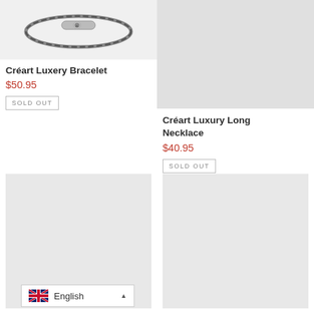[Figure (photo): Créart Luxery Bracelet product photo - bracelet with silver hardware and dark cord]
Créart Luxery Bracelet
$50.95
SOLD OUT
[Figure (photo): Créart Luxury Long Necklace product photo - light gray background]
Créart Luxury Long Necklace
$40.95
SOLD OUT
[Figure (photo): Product image placeholder - bottom left, gray background]
[Figure (photo): Product image placeholder - bottom right, gray background]
English